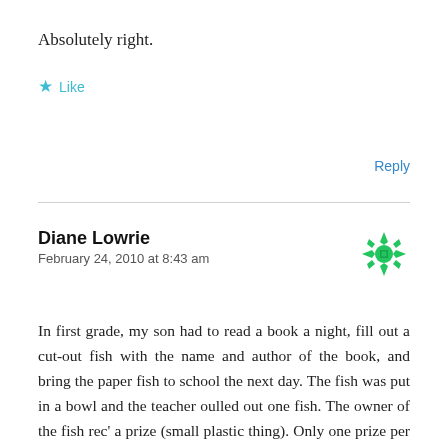Absolutely right.
★ Like
Reply
Diane Lowrie
February 24, 2010 at 8:43 am
In first grade, my son had to read a book a night, fill out a cut-out fish with the name and author of the book, and bring the paper fish to school the next day. The fish was put in a bowl and the teacher oulled out one fish. The owner of the fish rec' a prize (small plastic thing). Only one prize per student was allowed for the duration of the program. Once my son has rec'd his plastic pen, he